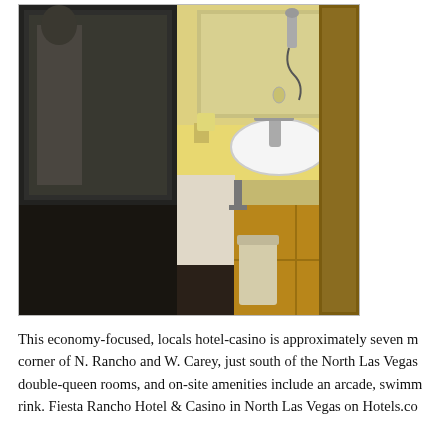[Figure (photo): Interior photo of a hotel bathroom/vanity area showing a sink with white countertop, mirror, yellow/tan walls, dark carpet in the room area, tile floor in the bathroom, a trash can, and a door frame on the right. A person is partially reflected in the mirror.]
This economy-focused, locals hotel-casino is approximately seven m... corner of N. Rancho and W. Carey, just south of the North Las Vegas... double-queen rooms, and on-site amenities include an arcade, swimm... rink. Fiesta Rancho Hotel & Casino in North Las Vegas on Hotels.co...